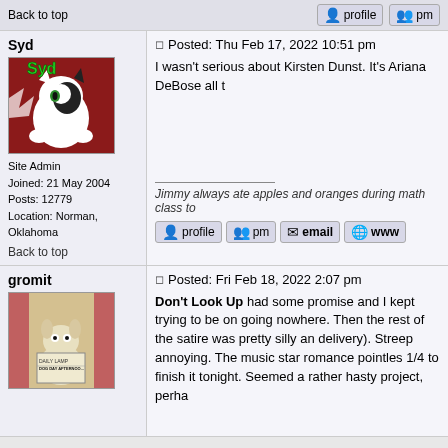Back to top | profile | pm
Syd
[Figure (photo): Avatar of user Syd: cartoon cat bursting through red background with green text 'Syd']
Site Admin
Joined: 21 May 2004
Posts: 12779
Location: Norman, Oklahoma
Back to top
Posted: Thu Feb 17, 2022 10:51 pm
I wasn't serious about Kirsten Dunst. It's Ariana DeBose all t
Jimmy always ate apples and oranges during math class to
profile | pm | email | www
gromit
[Figure (photo): Avatar of user gromit: Wallace and Gromit scene with Gromit reading a newspaper]
Posted: Fri Feb 18, 2022 2:07 pm
Don't Look Up had some promise and I kept trying to be on going nowhere. Then the rest of the satire was pretty silly an delivery). Streep annoying. The music star romance pointles 1/4 to finish it tonight. Seemed a rather hasty project, perha